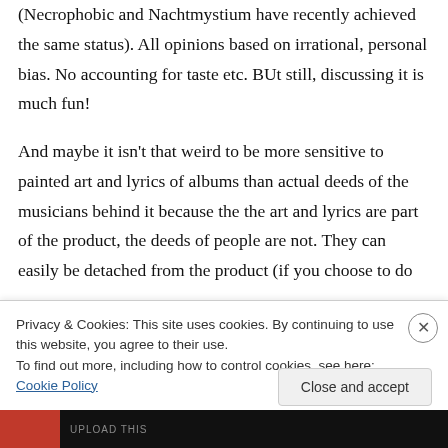(Necrophobic and Nachtmystium have recently achieved the same status). All opinions based on irrational, personal bias. No accounting for taste etc. BUt still, discussing it is much fun!
And maybe it isn't that weird to be more sensitive to painted art and lyrics of albums than actual deeds of the musicians behind it because the the art and lyrics are part of the product, the deeds of people are not. They can easily be detached from the product (if you choose to do
Privacy & Cookies: This site uses cookies. By continuing to use this website, you agree to their use.
To find out more, including how to control cookies, see here: Cookie Policy
Close and accept